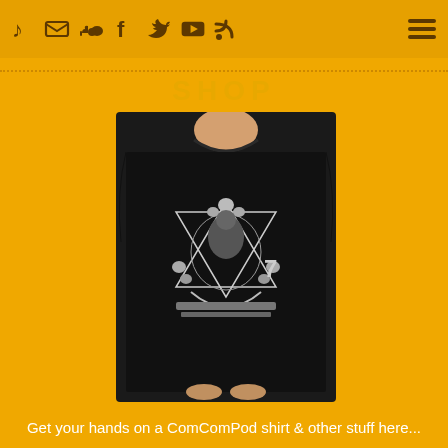♪ ✉ soundcloud f twitter youtube rss ☰
SHOP
[Figure (photo): Person wearing a black t-shirt with a graphic design featuring a star shape made of skulls and figures]
Get your hands on a ComComPod shirt & other stuff here...